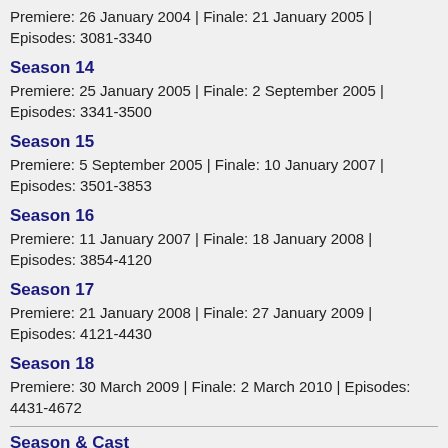Premiere: 26 January 2004 | Finale: 21 January 2005 | Episodes: 3081-3340
Season 14
Premiere: 25 January 2005 | Finale: 2 September 2005 | Episodes: 3341-3500
Season 15
Premiere: 5 September 2005 | Finale: 10 January 2007 | Episodes: 3501-3853
Season 16
Premiere: 11 January 2007 | Finale: 18 January 2008 | Episodes: 3854-4120
Season 17
Premiere: 21 January 2008 | Finale: 27 January 2009 | Episodes: 4121-4430
Season 18
Premiere: 30 March 2009 | Finale: 2 March 2010 | Episodes: 4431-4672
Season & Cast